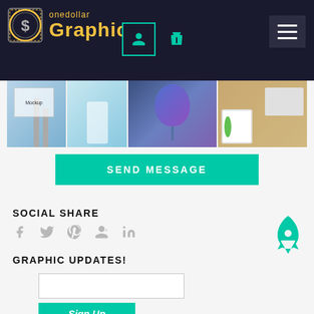[Figure (logo): OneDollar Graphics logo with gold coin containing dollar sign and yellow text 'onedollar Graphics' on dark background]
[Figure (screenshot): Website header with navigation icons (user profile box with teal border, shopping cart icon) and hamburger menu button on dark background]
[Figure (photo): Strip of photos showing signage, balloon, and mug product mockups]
SEND MESSAGE
SOCIAL SHARE
[Figure (infographic): Social share icons: Facebook (f), Twitter (bird), Pinterest (P), Google+ (g+), LinkedIn (in) in grey]
[Figure (illustration): Teal rocket ship icon]
GRAPHIC UPDATES!
Sign Up